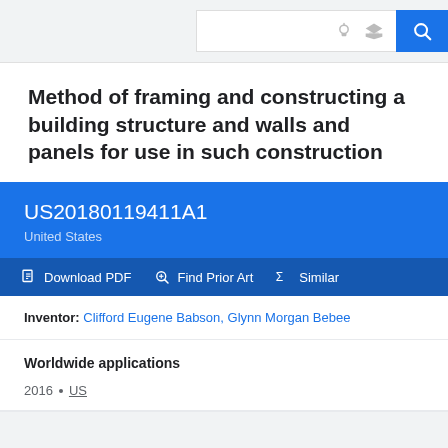Google Patents search bar with search button
Method of framing and constructing a building structure and walls and panels for use in such construction
US20180119411A1
United States
Download PDF  Find Prior Art  Similar
Inventor: Clifford Eugene Babson, Glynn Morgan Bebee
Worldwide applications
2016 · US